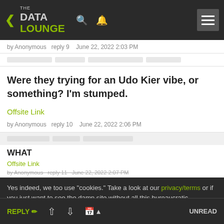THE DATA LOUNGE
by Anonymous  reply 9  June 22, 2022 2:03 PM
Were they trying for an Udo Kier vibe, or something? I'm stumped.
Offsite Link
by Anonymous  reply 10  June 22, 2022 2:06 PM
WHAT
Offsite Link
by Anonymous  reply 11  June 22, 2022 2:07 PM
Yes indeed, we too use "cookies." Take a look at our privacy/terms or if you just want to see the damn site without all this bureaucratic nonsense, click ACCEPT. Otherwise, you'll just have to find some other site for your pointless bitchery needs.
REPLY  UNREAD